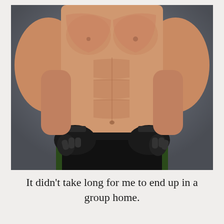[Figure (photo): Shirtless muscular male torso with hands on hips wearing black fingerless MMA/workout gloves and black shorts, photographed against a grey studio background. Only the torso from chest to mid-thigh is visible, no head shown.]
It didn't take long for me to end up in a group home.